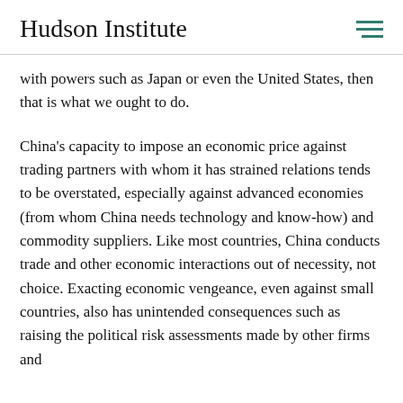Hudson Institute
with powers such as Japan or even the United States, then that is what we ought to do.
China's capacity to impose an economic price against trading partners with whom it has strained relations tends to be overstated, especially against advanced economies (from whom China needs technology and know-how) and commodity suppliers. Like most countries, China conducts trade and other economic interactions out of necessity, not choice. Exacting economic vengeance, even against small countries, also has unintended consequences such as raising the political risk assessments made by other firms and countries that the Chinese political class are not with